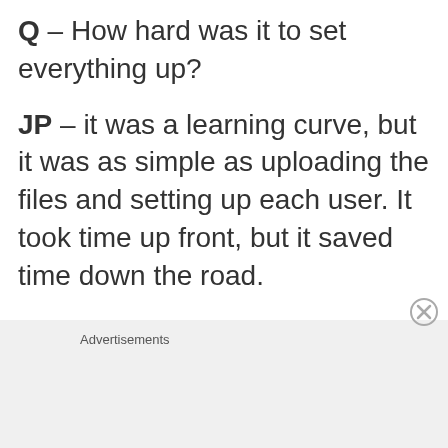Q – How hard was it to set everything up?
JP – it was a learning curve, but it was as simple as uploading the files and setting up each user. It took time up front, but it saved time down the road.
Advertisements